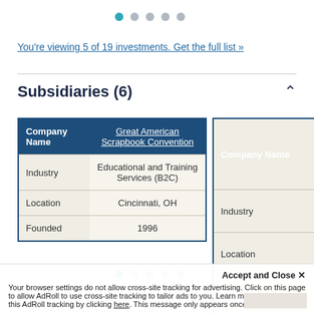[Figure (other): Pagination dots row at top, first dot teal/active, rest gray]
You're viewing 5 of 19 investments. Get the full list »
Subsidiaries (6)
| Company Name | Great American Scrapbook Convention |
| --- | --- |
| Industry | Educational and Training Services (B2C) |
| Location | Cincinnati, OH |
| Founded | 1996 |
| Company Name |
| --- |
| Industry |
| Location |
| Founded |
[Figure (other): Pagination dots row at bottom, first dot teal/active, rest gray]
Accept and Close ×
Your browser settings do not allow cross-site tracking for advertising. Click on this page to allow AdRoll to use cross-site tracking to tailor ads to you. Learn more or opt out of this AdRoll tracking by clicking here. This message only appears once.